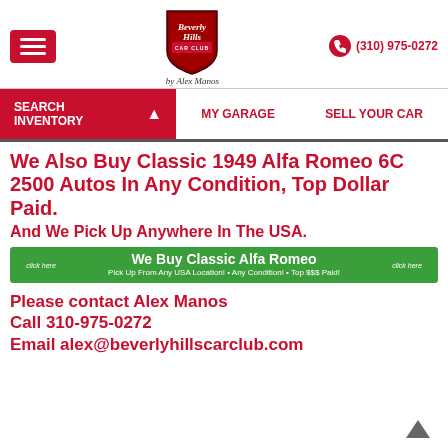Beverly Hills Car Club by Alex Manos — (310) 975-0272
SEARCH INVENTORY | MY GARAGE | SELL YOUR CAR
We Also Buy Classic 1949 Alfa Romeo 6C 2500 Autos In Any Condition, Top Dollar Paid.
And We Pick Up Anywhere In The USA.
[Figure (infographic): Green banner: We Buy Classic Alfa Romeo — Pick Up From Any USA Location! • Any Condition! • Top $$$ Paid! — click here buttons on each side]
Please contact Alex Manos
Call 310-975-0272
Email alex@beverlyhillscarclub.com